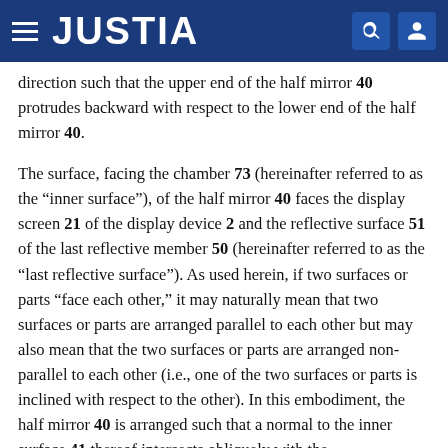JUSTIA
direction such that the upper end of the half mirror 40 protrudes backward with respect to the lower end of the half mirror 40.
The surface, facing the chamber 73 (hereinafter referred to as the “inner surface”), of the half mirror 40 faces the display screen 21 of the display device 2 and the reflective surface 51 of the last reflective member 50 (hereinafter referred to as the “last reflective surface”). As used herein, if two surfaces or parts “face each other,” it may naturally mean that two surfaces or parts are arranged parallel to each other but may also mean that the two surfaces or parts are arranged non-parallel to each other (i.e., one of the two surfaces or parts is inclined with respect to the other). In this embodiment, the half mirror 40 is arranged such that a normal to the inner surface 41 thereof intersects obliquely with the